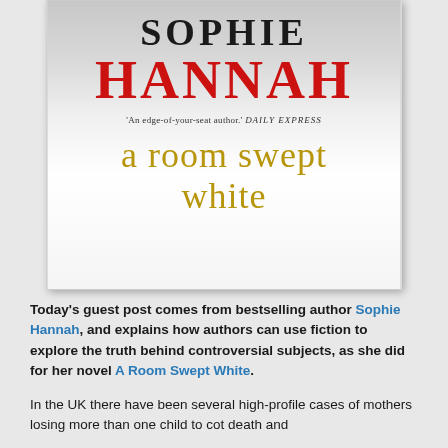[Figure (illustration): Book cover for 'A Room Swept White' by Sophie Hannah. The cover shows the author name 'SOPHIE' in large black serif letters at top, 'HANNAH' in large red serif letters below, a blurb reading 'An edge-of-your-seat author.' DAILY EXPRESS, and the book title 'a room swept white' in large gold/olive serif text. Background is light grey/white gradient.]
Today's guest post comes from bestselling author Sophie Hannah, and explains how authors can use fiction to explore the truth behind controversial subjects, as she did for her novel A Room Swept White.
In the UK there have been several high-profile cases of mothers losing more than one child to cot death and